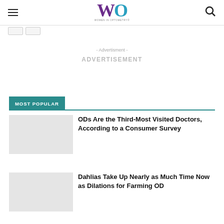Women in Optometry
- Advertisment -
ADVERTISEMENT
MOST POPULAR
ODs Are the Third-Most Visited Doctors, According to a Consumer Survey
Dahlias Take Up Nearly as Much Time Now as Dilations for Farming OD